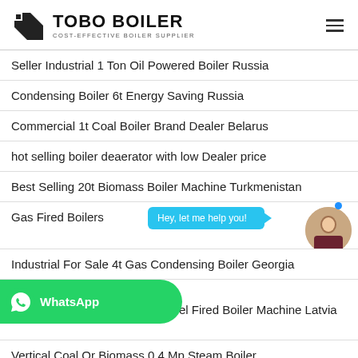TOBO BOILER — COST-EFFECTIVE BOILER SUPPLIER
Seller Industrial 1 Ton Oil Powered Boiler Russia
Condensing Boiler 6t Energy Saving Russia
Commercial 1t Coal Boiler Brand Dealer Belarus
hot selling boiler deaerator with low Dealer price
Best Selling 20t Biomass Boiler Machine Turkmenistan
Gas Fired Boilers [partial — obscured by chat widget]
Industrial For Sale 4t Gas Condensing Boiler Georgia
[partial] el Fired Boiler Machine Latvia
Vertical Coal Or Biomass 0 4 Mp Steam Boiler